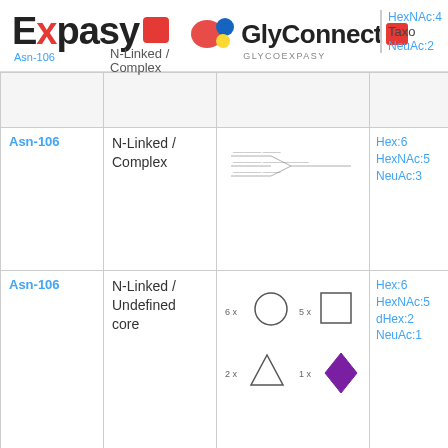[Figure (logo): ExPASy logo with red square icon]
[Figure (logo): GlyConnect / GLYCOEXPASY logo with colored blob icons]
| Site | Type | Structure | Composition | Taxo... |
| --- | --- | --- | --- | --- |
| Asn-106 | N-Linked / Complex |  | HexNAc:4 NeuAc:2 |  |
|  |  |  |  |  |
| Asn-106 | N-Linked / Complex | [glycan diagram] | Hex:6 HexNAc:5 NeuAc:3 |  |
| Asn-106 | N-Linked / Undefined core | [6x circle, 5x square, 2x triangle, 1x diamond] | Hex:6 HexNAc:5 dHex:2 NeuAc:1 |  |
| Asn-106 | N-Linked / | [7x circle, 6x square] | Hex:7 HexNAc:6 |  |